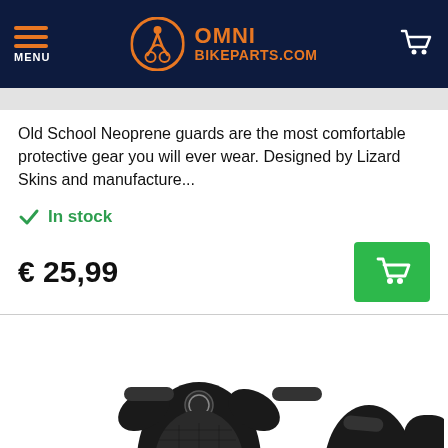OMNI BIKEPARTS.COM
Old School Neoprene guards are the most comfortable protective gear you will ever wear. Designed by Lizard Skins and manufacture...
In stock
€ 25,99
[Figure (photo): Black neoprene knee/elbow guards with velcro straps, Lizard Skins brand, shown as a pair on white background]